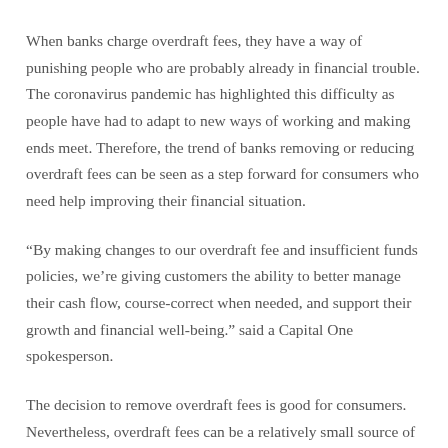When banks charge overdraft fees, they have a way of punishing people who are probably already in financial trouble. The coronavirus pandemic has highlighted this difficulty as people have had to adapt to new ways of working and making ends meet. Therefore, the trend of banks removing or reducing overdraft fees can be seen as a step forward for consumers who need help improving their financial situation.
“By making changes to our overdraft fee and insufficient funds policies, we’re giving customers the ability to better manage their cash flow, course-correct when needed, and support their growth and financial well-being.” said a Capital One spokesperson.
The decision to remove overdraft fees is good for consumers. Nevertheless, overdraft fees can be a relatively small source of income for a bank. For example, Capital One reported net income of $3.1 billion in the third quarter of 2021 alone. The $150 million the company says it loses in overdraft fees is about 4.8% of its